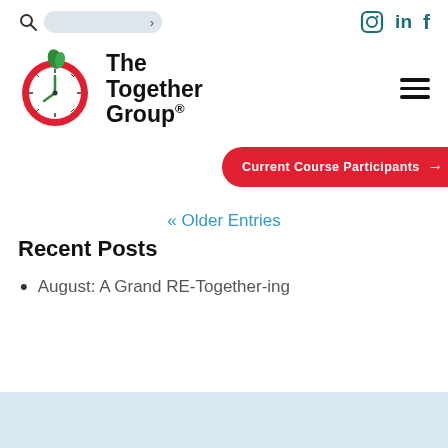Search | Instagram | LinkedIn | Facebook
[Figure (logo): The Together Group logo: red circle clock with green leaf on top, black bold text reading 'The Together Group.']
Current Course Participants →
« Older Entries
Recent Posts
August: A Grand RE-Together-ing